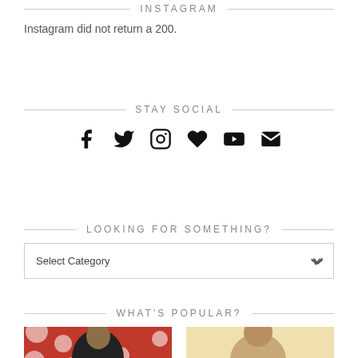INSTAGRAM
Instagram did not return a 200.
STAY SOCIAL
[Figure (infographic): Row of 6 social media icons: Facebook, Twitter, Instagram, Heart/Bloglovin, YouTube, Email]
LOOKING FOR SOMETHING?
Select Category
WHAT'S POPULAR?
[Figure (photo): Photo of a person in front of red polka dot background]
[Figure (photo): Photo on light yellow/cream background]